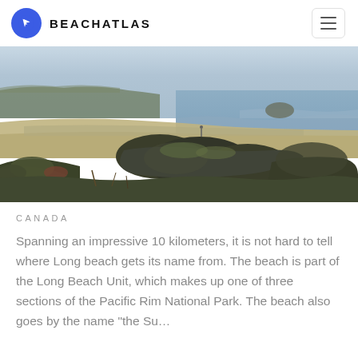BEACHATLAS
[Figure (photo): Panoramic coastal beach scene showing a wide sandy beach stretching along the coast with dark moss-covered rocks in the foreground, coastal vegetation, calm ocean waves, a small island or rock formation in the water, and overcast grey-blue sky with distant forested headlands.]
CANADA
Spanning an impressive 10 kilometers, it is not hard to tell where Long beach gets its name from. The beach is part of the Long Beach Unit, which makes up one of three sections of the Pacific Rim National Park. The beach also goes by the name “the Su…